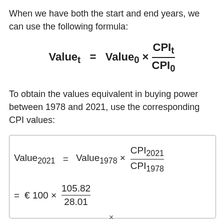When we have both the start and end years, we can use the following formula:
To obtain the values equivalent in buying power between 1978 and 2021, use the corresponding CPI values: